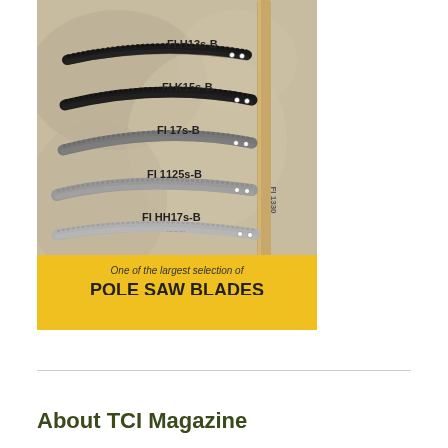[Figure (infographic): Advertisement showing multiple pole saw blades (FI H13s-B, FI K15s-B, FI 17s-B, FI 1125s-B, FI HH17s-B, FI 1330) arranged in a fan pattern against a tree background, with yellow banner text reading 'One of the largest selection of POLE SAW BLADES for the tree care industry'.]
About TCI Magazine